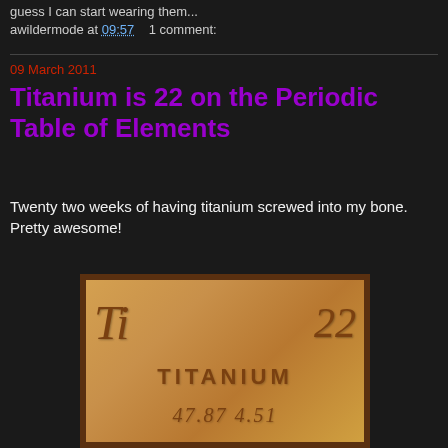guess I can start wearing them...
awildermode at 09:57    1 comment:
09 March 2011
Titanium is 22 on the Periodic Table of Elements
Twenty two weeks of having titanium screwed into my bone. Pretty awesome!
[Figure (photo): A wooden periodic table element tile for Titanium showing Ti symbol, atomic number 22, the name TITANIUM, and atomic mass 47.87 (partially visible 4.51), carved into a golden-tan wooden plaque with dark wood border.]